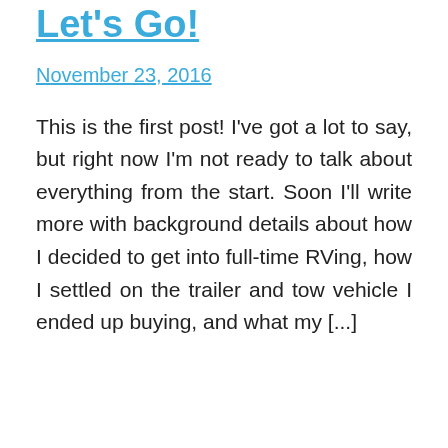Let's Go!
November 23, 2016
This is the first post! I've got a lot to say, but right now I'm not ready to talk about everything from the start. Soon I'll write more with background details about how I decided to get into full-time RVing, how I settled on the trailer and tow vehicle I ended up buying, and what my [...]